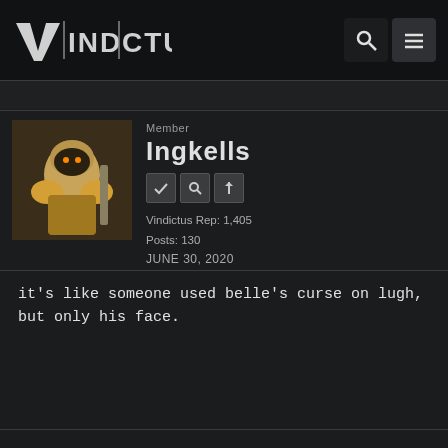VINDICTUS
Member
Ingkells
Vindictus Rep: 1,405
Posts: 130
JUNE 30, 2020
it's like someone used belle's curse on lugh, but only his face.